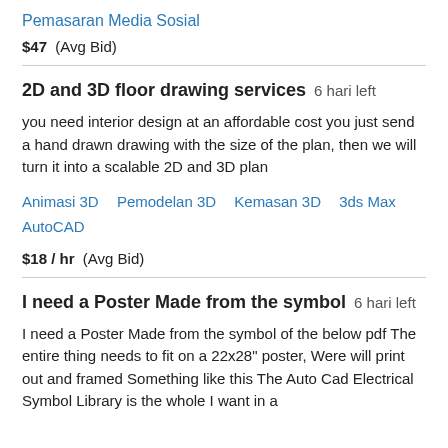Pemasaran Media Sosial
$47  (Avg Bid)
2D and 3D floor drawing services  6 hari left
you need interior design at an affordable cost you just send a hand drawn drawing with the size of the plan, then we will turn it into a scalable 2D and 3D plan
Animasi 3D   Pemodelan 3D   Kemasan 3D   3ds Max   AutoCAD
$18 / hr  (Avg Bid)
I need a Poster Made from the symbol  6 hari left
I need a Poster Made from the symbol of the below pdf The entire thing needs to fit on a 22x28" poster, Were will print out and framed Something like this The Auto Cad Electrical Symbol Library is the whole I want in a